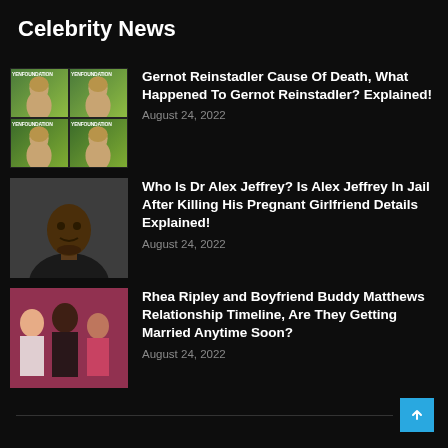Celebrity News
Gernot Reinstadler Cause Of Death, What Happened To Gernot Reinstadler? Explained! — August 24, 2022
Who Is Dr Alex Jeffrey? Is Alex Jeffrey In Jail After Killing His Pregnant Girlfriend Details Explained! — August 24, 2022
Rhea Ripley and Boyfriend Buddy Matthews Relationship Timeline, Are They Getting Married Anytime Soon? — August 24, 2022